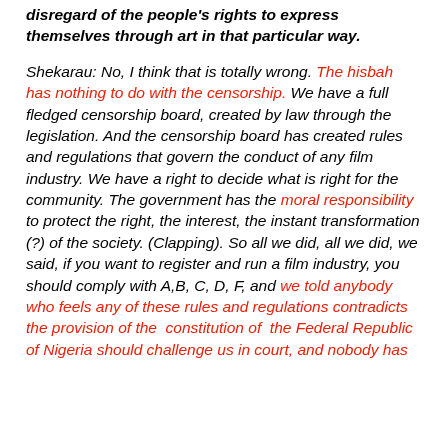disregard of the people's rights to express themselves through art in that particular way.
Shekarau: No, I think that is totally wrong. The hisbah has nothing to do with the censorship. We have a full fledged censorship board, created by law through the legislation. And the censorship board has created rules and regulations that govern the conduct of any film industry. We have a right to decide what is right for the community. The government has the moral responsibility to protect the right, the interest, the instant transformation (?) of the society. (Clapping). So all we did, all we did, we said, if you want to register and run a film industry, you should comply with A,B, C, D, F, and we told anybody who feels any of these rules and regulations contradicts the provision of the constitution of the Federal Republic of Nigeria should challenge us in court, and nobody has